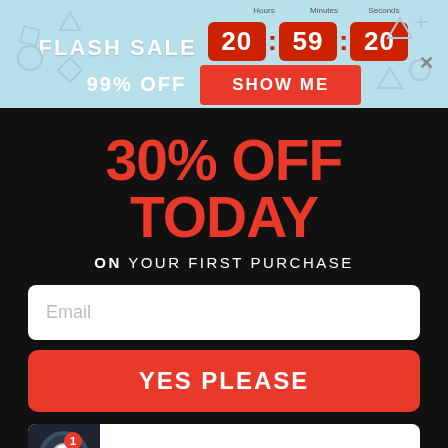[Figure (screenshot): Flash sale banner with countdown timer showing 20:59:20, '99% OFF' text, and a red 'SHOW ME' button on a light blue background with geometric shapes]
30% OFF TODAY
ON YOUR FIRST PURCHASE
[Figure (screenshot): Email input field with placeholder text 'Email']
YES PLEASE
DECLINE ONE TIME OFFER